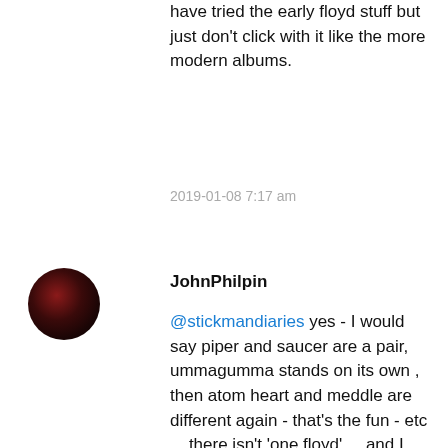have tried the early floyd stuff but just don't click with it like the more modern albums.
2019-01-08 7:17 am
JohnPhilpin
@stickmandiaries yes - I would say piper and saucer are a pair, ummagumma stands on its own , then atom heart and meddle are different again - that's the fun - etc ... there isn't 'one floyd' ... and I like that ... to me, excellent that you know others, even better that you tried, and everyone should like what they like and we shouldn't get too special about which is best .... there is absolutely NO answer to that.